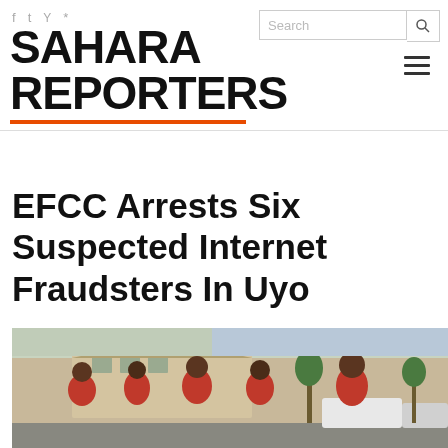SAHARA REPORTERS
EFCC Arrests Six Suspected Internet Fraudsters In Uyo
[Figure (photo): Group of people wearing red shirts standing outdoors near vehicles and a building]